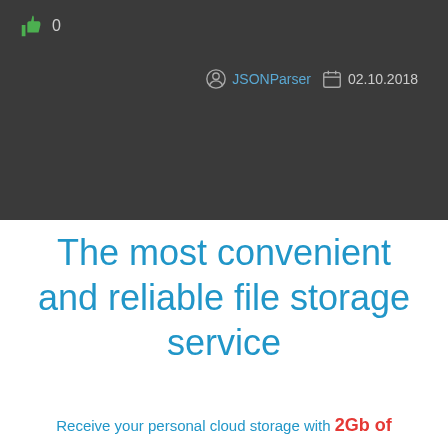[Figure (screenshot): Dark header bar with thumbs-up icon showing 0 likes, user icon linking to JSONParser, and calendar icon showing date 02.10.2018]
The most convenient and reliable file storage service
Receive your personal cloud storage with 2Gb of